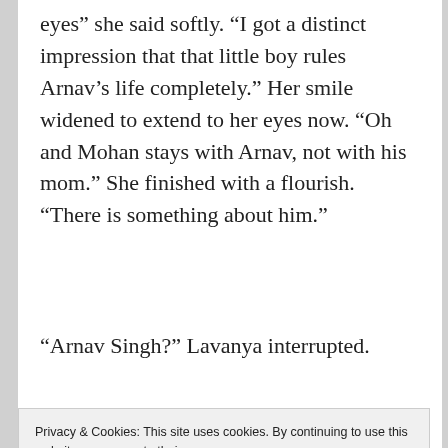eyes” she said softly. “I got a distinct impression that that little boy rules Arnav’s life completely.” Her smile widened to extend to her eyes now. “Oh and Mohan stays with Arnav, not with his mom.” She finished with a flourish. “There is something about him.”
“Arnav Singh?” Lavanya interrupted.
Privacy & Cookies: This site uses cookies. By continuing to use this website, you agree to their use.
To find out more, including how to control cookies, see here: Cookie Policy
Close and accept